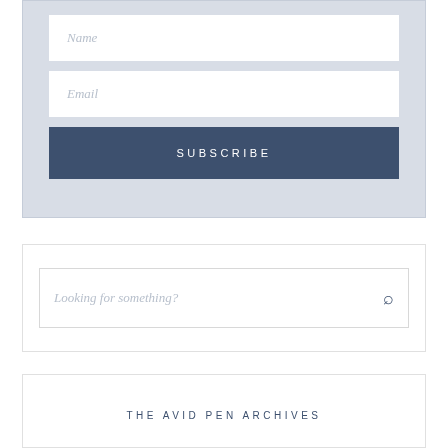[Figure (screenshot): Subscription form with Name input field, Email input field, and SUBSCRIBE button on a light blue-grey background]
[Figure (screenshot): Search bar with placeholder text 'Looking for something?' and a search icon on the right]
THE AVID PEN ARCHIVES